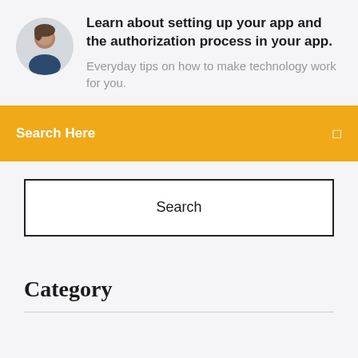[Figure (photo): Circular avatar photo of a man]
Learn about setting up your app and the authorization process in your app.
Everyday tips on how to make technology work for you.
Search Here
Search
Category